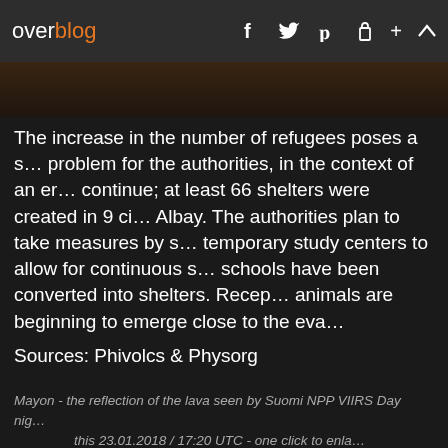overblog  f  twitter  pinterest  lock  +  ^
[Figure (photo): Dark image strip showing a night scene, partially visible at top of page]
The increase in the number of refugees poses a s… problem for the authorities, in the context of an er… continue; at least 66 shelters were created in 9 ci… Albay. The authorities plan to take measures by s… temporary study centers to allow for continuous s… schools have been converted into shelters. Recep… animals are beginning to emerge close to the eva…
Sources: Phivolcs & Physorg
Mayon - the reflection of the lava seen by Suomi NPP VIIRS Day nig… this 23.01.2018 / 17:20 UTC - one click to enla…
At Agung, no substantial changes.
The BNPB reports that the number of...